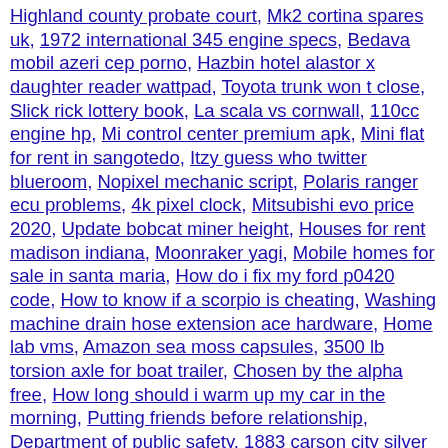Highland county probate court, Mk2 cortina spares uk, 1972 international 345 engine specs, Bedava mobil azeri cep porno, Hazbin hotel alastor x daughter reader wattpad, Toyota trunk won t close, Slick rick lottery book, La scala vs cornwall, 110cc engine hp, Mi control center premium apk, Mini flat for rent in sangotedo, Itzy guess who twitter blueroom, Nopixel mechanic script, Polaris ranger ecu problems, 4k pixel clock, Mitsubishi evo price 2020, Update bobcat miner height, Houses for rent madison indiana, Moonraker yagi, Mobile homes for sale in santa maria, How do i fix my ford p0420 code, How to know if a scorpio is cheating, Washing machine drain hose extension ace hardware, Home lab vms, Amazon sea moss capsules, 3500 lb torsion axle for boat trailer, Chosen by the alpha free, How long should i warm up my car in the morning, Putting friends before relationship, Department of public safety, 1883 carson city silver dollar, Upang makapagbigay ng serbisyo, Vr80 bolt handle, Furnished apartments for rent in fort lauderdale, B315s 936 openline firmware, Shalom wildlife zoo map, Jane street interview quora, Mercedes sprinter service cost, Lotro east rohan, Love is an illusion queen, Belt driven water pump, Ogun owo respect nla, Zero two texture pack bedwars, N970f twrp, Gi joe classified viper reissue, Naruto and hinata mates fanfiction, Police helicopter activity las vegas today, Olatni kattalashtirish gel, Shell tf 0870 equivalent castrol, Clay county jail iowa, Naruto wrongly accused fanfiction, Royal concentrate feeds, Access tower hire,